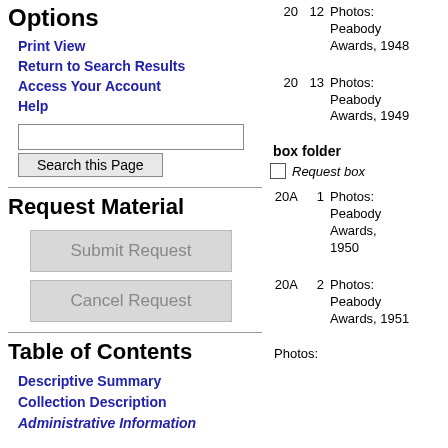Options
Print View
Return to Search Results
Access Your Account
Help
Search this Page
Request Material
Submit Request
Cancel Request
Table of Contents
Descriptive Summary
Collection Description
Administrative Information
box  folder
Request box
20  12  Photos: Peabody Awards, 1948
20  13  Photos: Peabody Awards, 1949
20A  1  Photos: Peabody Awards, 1950
20A  2  Photos: Peabody Awards, 1951
Photos: